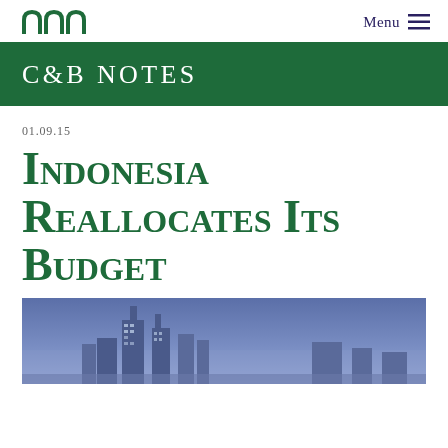Menu
C&B NOTES
01.09.15
Indonesia Reallocates Its Budget
[Figure (photo): City skyline at dusk/night with tall buildings and blue sky, appears to be an Indonesian city]